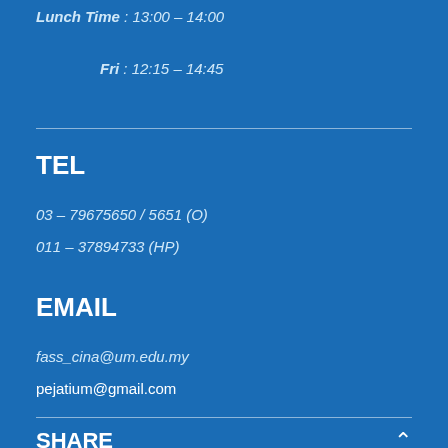Lunch Time : 13:00 – 14:00
Fri  : 12:15 – 14:45
TEL
03 – 79675650 / 5651 (O)
011 – 37894733 (HP)
EMAIL
fass_cina@um.edu.my
pejatium@gmail.com
SHARE